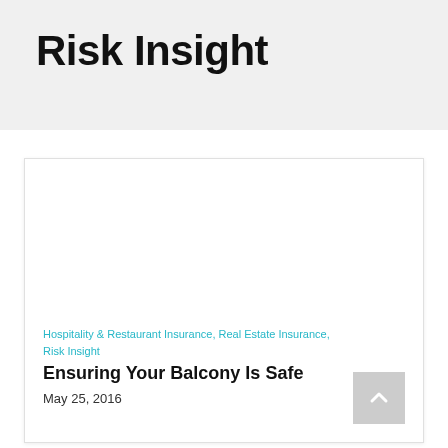Risk Insight
[Figure (other): White blank image area inside article card]
Hospitality & Restaurant Insurance, Real Estate Insurance, Risk Insight
Ensuring Your Balcony Is Safe
May 25, 2016